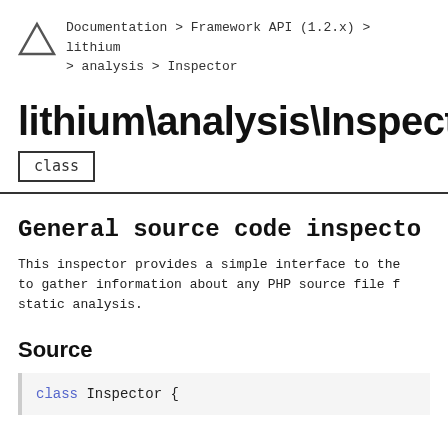Documentation > Framework API (1.2.x) > lithium > analysis > Inspector
lithium\analysis\Inspector
class
General source code inspector
This inspector provides a simple interface to the to gather information about any PHP source file f static analysis.
Source
class Inspector {